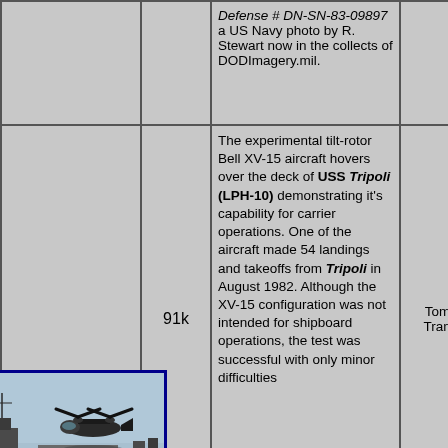| Image | Size | Description | Uploader |
| --- | --- | --- | --- |
| [image] |  | Defense # DN-SN-83-09897 a US Navy photo by R. Stewart now in the collects of DODImagery.mil. |  |
| 10111046 [thumbnail] | 91k | The experimental tilt-rotor Bell XV-15 aircraft hovers over the deck of USS Tripoli (LPH-10) demonstrating it's capability for carrier operations. One of the aircraft made 54 landings and takeoffs from Tripoli in August 1982. Although the XV-15 configuration was not intended for shipboard operations, the test was successful with only minor difficulties | Tommy Trampp |